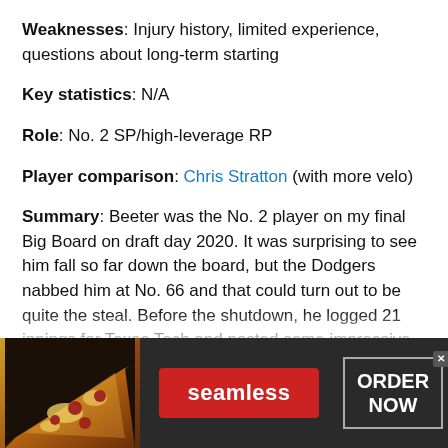Weaknesses: Injury history, limited experience, questions about long-term starting
Key statistics: N/A
Role: No. 2 SP/high-leverage RP
Player comparison: Chris Stratton (with more velo)
Summary: Beeter was the No. 2 player on my final Big Board on draft day 2020. It was surprising to see him fall so far down the board, but the Dodgers nabbed him at No. 66 and that could turn out to be quite the steal. Before the shutdown, he logged 21 innings for Texas Tech and posted some impressive numbers: 2.14 ERA, 40.2 K%, 4.9 BB%. He's probably not a true 35 K-BB% guy, but the stuff is there to be an impact starter.
[Figure (infographic): Seamless food delivery advertisement banner with pizza image on left, red Seamless button in center, and ORDER NOW button on right with dark background.]